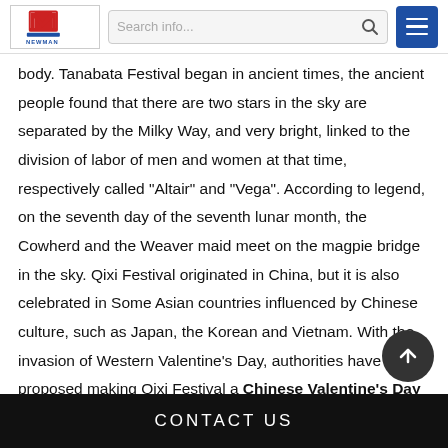Newman logo | Search info... | Menu
body.  Tanabata Festival began in ancient times, the ancient people found that there are two stars in the sky are separated by the Milky Way, and very bright, linked to the division of labor of men and women at that time, respectively called "Altair" and "Vega".  According to legend, on the seventh day of the seventh lunar month, the Cowherd and the Weaver maid meet on the magpie bridge in the sky.  Qixi Festival originated in China, but it is also celebrated in Some Asian countries influenced by Chinese culture, such as Japan, the Korean and Vietnam.  With the invasion of Western Valentine's Day, authorities have proposed making Qixi Festival a Chinese Valentine's Day in order to protect traditional culture.  On May 20, 2006, Qixi Festival was listed in
CONTACT US